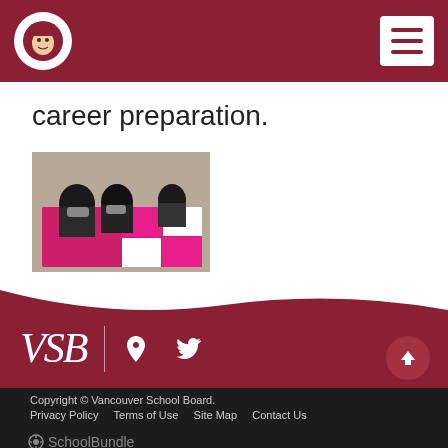VSB school website header with logo and hamburger menu
career preparation.
[Figure (photo): Students sitting around a table working on a group project with pink/magenta materials]
[Figure (logo): VSB (Vancouver School Board) footer logo with social media icons (map/location and Twitter)]
Copyright © Vancouver School Board.
Privacy Policy   Terms of Use   Site Map
Contact Us
⚙SchoolBundle